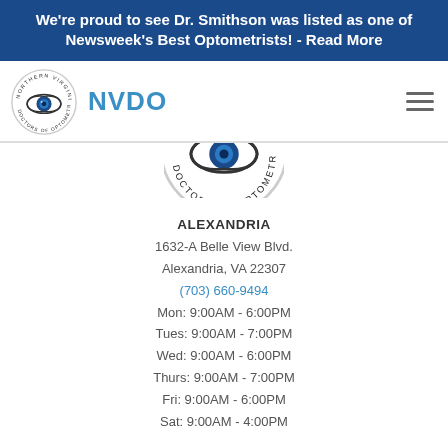We're proud to see Dr. Smithson was listed as one of Newsweek's Best Optometrists! - Read More
[Figure (logo): Northern Virginia Doctors of Optometry circular logo with eye graphic and NVDO text]
[Figure (logo): Partial Northern Virginia Doctors of Optometry circular logo cropped, showing TORS OF OPTOME]
ALEXANDRIA
1632-A Belle View Blvd.
Alexandria, VA 22307
(703) 660-9494
Mon: 9:00AM - 6:00PM
Tues: 9:00AM - 7:00PM
Wed: 9:00AM - 6:00PM
Thurs: 9:00AM - 7:00PM
Fri: 9:00AM - 6:00PM
Sat: 9:00AM - 4:00PM